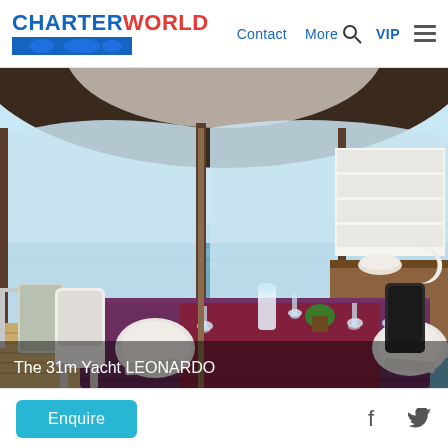CHARTERWORLD | Contact | More | VIP
[Figure (photo): Interior dining area of a luxury yacht with a purple tablecloth set for several guests, white chairs, glassware and plates on the table, floor-to-ceiling curved windows showing a calm blue sea and sky, wooden deck visible outside, a credenza with decorative bowls and a large white panel/TV on the right wall.]
The 31m Yacht LEONARDO
Enquire
[Figure (logo): Facebook and Twitter social media icons]